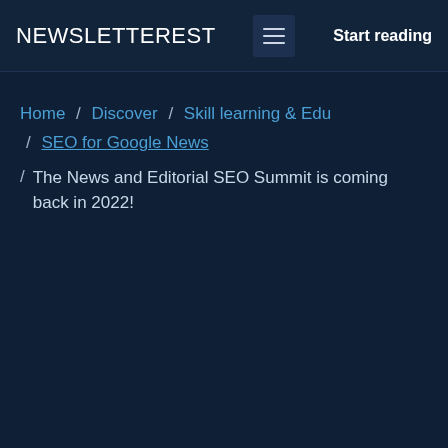NEWSLETTEREST  ≡  Start reading
Home / Discover / Skill learning & Edu / SEO for Google News
/ The News and Editorial SEO Summit is coming back in 2022!